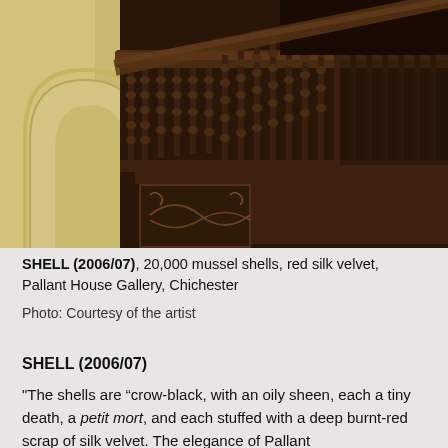[Figure (photo): Photograph of an ornate dark wooden staircase banister with turned spindles and carved decorative panels, with a cream/yellow arched doorway visible on the left side.]
SHELL (2006/07), 20,000 mussel shells, red silk velvet, Pallant House Gallery, Chichester
Photo: Courtesy of the artist
SHELL (2006/07)
"The shells are “crow-black, with an oily sheen, each a tiny death, a petit mort, and each stuffed with a deep burnt-red scrap of silk velvet. The elegance of Pallant